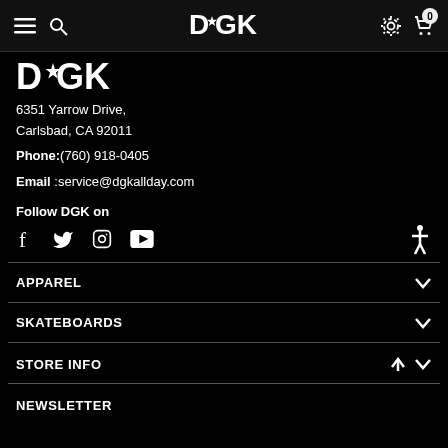DGK — navigation bar with menu, search, settings, and cart icons
[Figure (logo): DGK logo in white on black background]
6351 Yarrow Drive,
Carlsbad, CA 92011
Phone:(760) 918-0405
Email :service@dgkallday.com
Follow DGK on
[Figure (other): Social media icons: Facebook, Twitter, Instagram, YouTube]
APPAREL
SKATEBOARDS
STORE INFO
NEWSLETTER